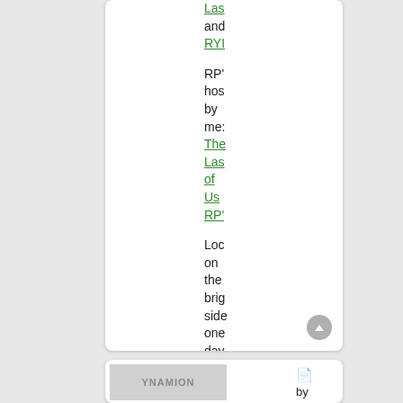Las and RYI

RP' hos by me: The Las of Us RP'

Loc on the brig side one day you be dea Sec
[Figure (screenshot): Bottom card with a thumbnail image on the left and text on the right showing a document icon, 'by', and 'Bacona...' (truncated)]